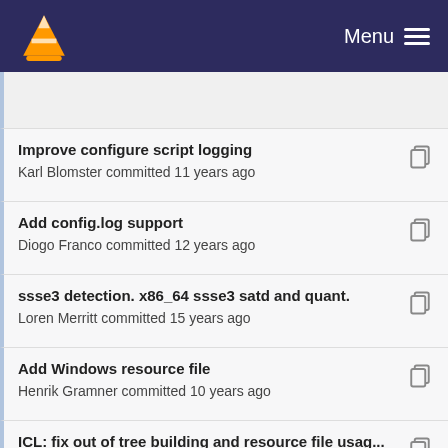Menu
Improve configure script logging
Karl Blomster committed 11 years ago
Add config.log support
Diogo Franco committed 12 years ago
ssse3 detection. x86_64 ssse3 satd and quant.
Loren Merritt committed 15 years ago
Add Windows resource file
Henrik Gramner committed 10 years ago
ICL: fix out of tree building and resource file usag...
Steven Walters committed 10 years ago